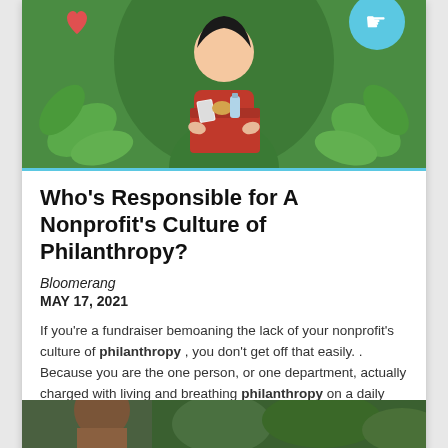[Figure (illustration): Illustration of a person in green clothes holding a donation box with food items against a green leafy background with a hand icon in a circle]
Who's Responsible for A Nonprofit's Culture of Philanthropy?
Bloomerang
MAY 17, 2021
If you're a fundraiser bemoaning the lack of your nonprofit's culture of philanthropy , you don't get off that easily. . Because you are the one person, or one department, actually charged with living and breathing philanthropy on a daily basis. Nonprofit Culture Philanthropy
[Figure (photo): Partial photo of a person outdoors, bottom of page]